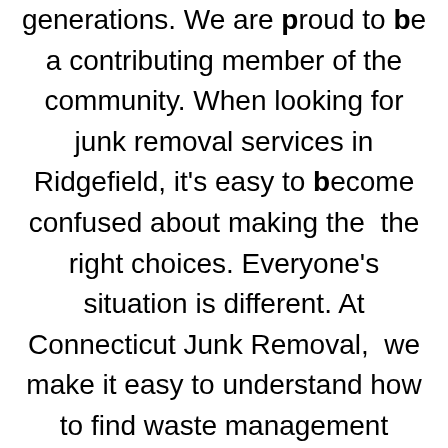generations.  We are proud to be a contributing member of the community. When looking for junk removal services in Ridgefield, it's easy to become confused about making the  the right choices.  Everyone's situation is different.  At Connecticut Junk Removal,  we make it easy to understand how to find waste management solutions for your particular situation. We have been providing waste management, Recycling  and junk removal services to Ridgefield for many years. Whether you just need a couch removed or you need an entire estate cleaned out, we have the experience necessary to assist you in making the right decisions, your in good hands with us. Our family has been providing waste management solutions to Fairfield and New